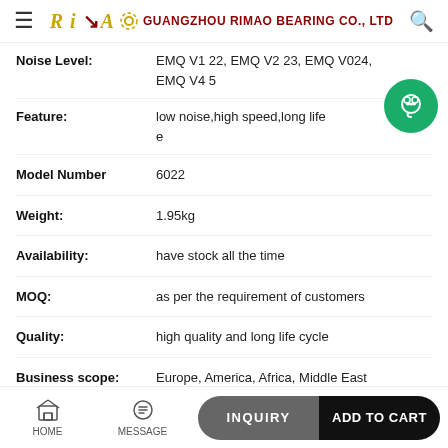GUANGZHOU RIMAO BEARING CO., LTD
| Property | Value |
| --- | --- |
| Noise Level: | EMQ V1 22, EMQ V2 23, EMQ V024, EMQ V4 5 |
| Feature: | low noise,high speed,long life e |
| Model Number | 6022 |
| Weight: | 1.95kg |
| Availability: | have stock all the time |
| MOQ: | as per the requirement of customers |
| Quality: | high quality and long life cycle |
| Business scope: | Europe, America, Africa, Middle East |
HOME  MESSAGE  INQUIRY  ADD TO CART